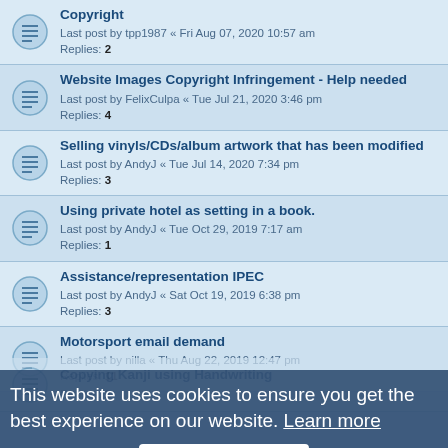Copyright
Last post by tpp1987 « Fri Aug 07, 2020 10:57 am
Replies: 2
Website Images Copyright Infringement - Help needed
Last post by FelixCulpa « Tue Jul 21, 2020 3:46 pm
Replies: 4
Selling vinyls/CDs/album artwork that has been modified
Last post by AndyJ « Tue Jul 14, 2020 7:34 pm
Replies: 3
Using private hotel as setting in a book.
Last post by AndyJ « Tue Oct 29, 2019 7:17 am
Replies: 1
Assistance/representation IPEC
Last post by AndyJ « Sat Oct 19, 2019 6:38 pm
Replies: 3
Motorsport email demand
Last post by nilla « Thu Aug 22, 2019 12:47 pm
Replies: 11
Copying Kanji using Handwriting
Replies: 2
Can I reproduce in a book forum material.
Last post by AndyJ « Thu Jul 25, 2019 8:53 pm
Replies: 3
Ebay CopyRight
Last post by AndyJ « Sun Jul 21, 2019 6:29 am
Replies: 1
This website uses cookies to ensure you get the best experience on our website. Learn more
Got it!